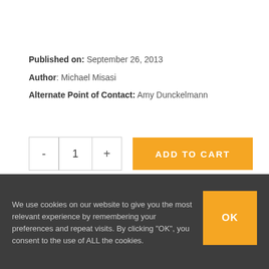Published on: September 26, 2013
Author: Michael Misasi
Alternate Point of Contact: Amy Dunckelmann
[Figure (other): Quantity selector with minus, 1, plus buttons and an orange ADD TO CART button]
We use cookies on our website to give you the most relevant experience by remembering your preferences and repeat visits. By clicking "OK", you consent to the use of ALL the cookies.